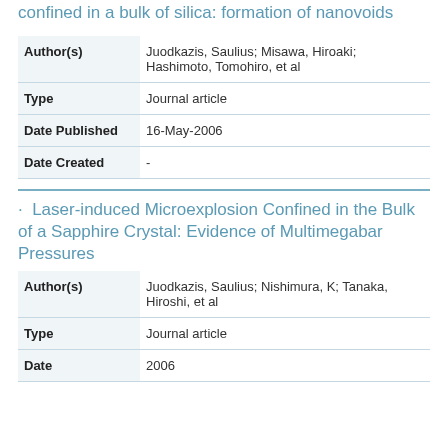confined in a bulk of silica: formation of nanovoids
| Field | Value |
| --- | --- |
| Author(s) | Juodkazis, Saulius; Misawa, Hiroaki; Hashimoto, Tomohiro, et al |
| Type | Journal article |
| Date Published | 16-May-2006 |
| Date Created | - |
· Laser-induced Microexplosion Confined in the Bulk of a Sapphire Crystal: Evidence of Multimegabar Pressures
| Field | Value |
| --- | --- |
| Author(s) | Juodkazis, Saulius; Nishimura, K; Tanaka, Hiroshi, et al |
| Type | Journal article |
| Date | 2006 |